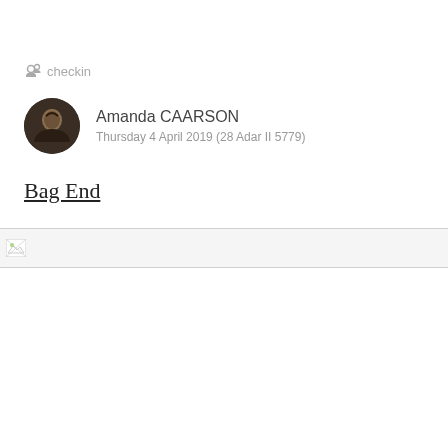checkin
Amanda CAARSON
Thursday 4 April 2019 (28 Adar II 5779)
Bag End
[Figure (map): Broken image placeholder for a map or location photo of Bag End]